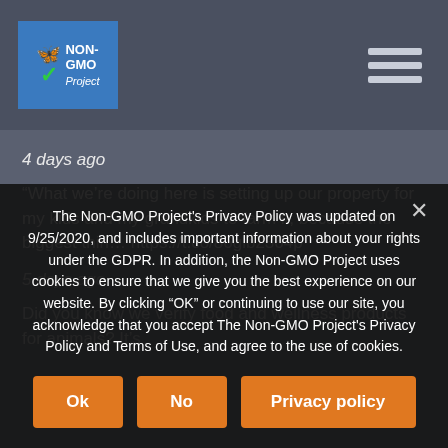[Figure (logo): Non-GMO Project logo with butterfly and checkmark on blue background]
4 days ago
“What we’re doing here is setting up our property for my kids and my grandkids to farm it, because the biggest thin… https://t.co/86glb2364p
5 days ago
Did you know we verify food and wellness products for animals? It’s
The Non-GMO Project’s Privacy Policy was updated on 9/25/2020, and includes important information about your rights under the GDPR. In addition, the Non-GMO Project uses cookies to ensure that we give you the best experience on our website. By clicking “OK” or continuing to use our site, you acknowledge that you accept The Non-GMO Project’s Privacy Policy and Terms of Use, and agree to the use of cookies.